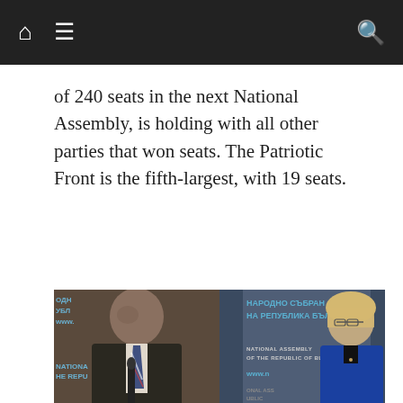Navigation bar with home, menu, and search icons
of 240 seats in the next National Assembly, is holding with all other parties that won seats. The Patriotic Front is the fifth-largest, with 19 seats.
[Figure (photo): Two people at a press conference in front of a National Assembly of the Republic of Bulgaria backdrop. A man in a suit with a striped tie speaks at a microphone on the left; a woman with blonde hair in a blue blazer stands on the right.]